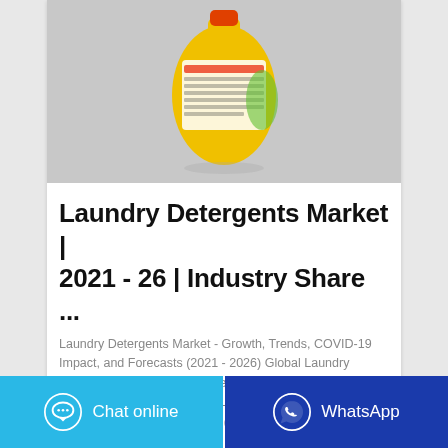[Figure (photo): Laundry detergent product bottle with yellow and orange packaging on a gray background]
Laundry Detergents Market | 2021 - 26 | Industry Share ...
Laundry Detergents Market - Growth, Trends, COVID-19 Impact, and Forecasts (2021 - 2026) Global Laundry Detergent Market is segmented by Product Type (Detergent Powder, Laundry Liquid, Fabric Softener, and Others), Distribution Channel (Offline Retail Stores and ...
Chat online
WhatsApp